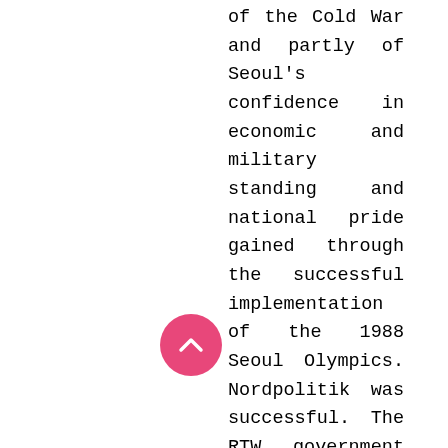of the Cold War and partly of Seoul's confidence in economic and military standing and national pride gained through the successful implementation of the 1988 Seoul Olympics. Nordpolitik was successful. The RTW government normalized diplomatic ties with communist countries, first with Hungary in 1989, then Poland and Yugoslavia in 1989, then Czechoslovakia, Bulgaria, Mongolia, Romania, and the Soviet Union in 1990, and finally China in 1992. Along with the diplomatic offensive toward communist countries, the Roh government undertook